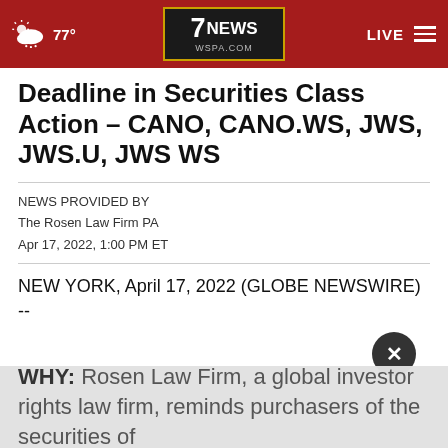7NEWS WSPA.COM | 77° | LIVE
Deadline in Securities Class Action – CANO, CANO.WS, JWS, JWS.U, JWS WS
NEWS PROVIDED BY
The Rosen Law Firm PA
Apr 17, 2022, 1:00 PM ET
NEW YORK, April 17, 2022 (GLOBE NEWSWIRE) --
WHY: Rosen Law Firm, a global investor rights law firm, reminds purchasers of the securities of